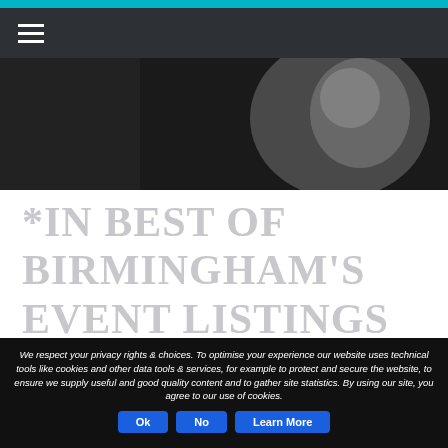Navigation bar with hamburger menu icon
[Figure (photo): Black and white close-up photo of a person, partially visible, dark tones]
*IN BEST OF BIRMINGHAM'S EVENT LISTINGS GUIDE*
We respect your privacy rights & choices. To optimise your experience our website uses technical tools like cookies and other data tools & services, for example to protect and secure the website, to ensure we supply useful and good quality content and to gather site statistics. By using our site, you agree to our use of cookies.
Ok  No  Learn More